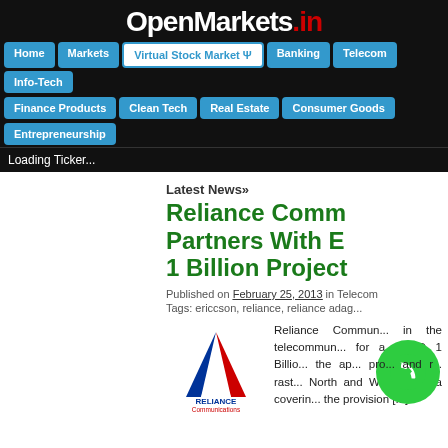OpenMarkets.in
Home | Markets | Virtual Stock Market Ψ | Banking | Telecom | Info-Tech | Finance Products | Clean Tech | Real Estate | Consumer Goods | Entrepreneurship
Loading Ticker...
Latest News»
Reliance Comm Partners With E 1 Billion Project
Published on February 25, 2013 in Telecom
Tags: ericcson, reliance, reliance adag...
[Figure (logo): Reliance Communications logo with red and blue triangle/arrow emblem]
Reliance Commun... in the telecommun... for a UU$D 1 Billio... the ap... pro... and r... rast... North and West of India coverin... the provision [...]